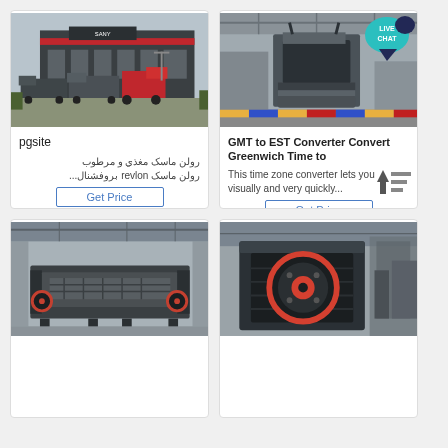[Figure (photo): Trucks parked in front of a large dark industrial building with red stripe]
pgsite
رولن ماسک مغذي و مرطوب رولن ماسک revlon بروفشنال...
Get Price
[Figure (photo): Industrial jaw crusher machine inside a factory with colorful floor markings, LIVE CHAT badge overlay]
GMT to EST Converter Convert Greenwich Time to
This time zone converter lets you visually and very quickly...
Get Price
[Figure (photo): Heavy industrial vibrating screen or feeder machine inside a factory building]
[Figure (photo): Front view of a jaw crusher with orange/red flywheel inside a factory]